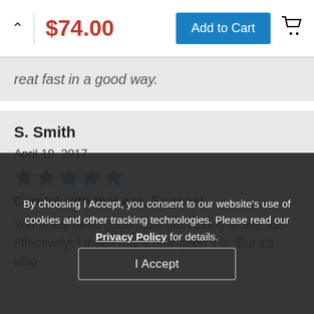$74.00 | Add to Cart
reat fast in a good way.
S. Smith
April 19, 2017
[Figure (other): 5 blue star rating icons]
Careful with that axe, Eugene!
You really need good bass monitoring to use this effectively! I mean that's how good it is. But it's also
By choosing I Accept, you consent to our website's use of cookies and other tracking technologies. Please read our Privacy Policy for details.
I Accept